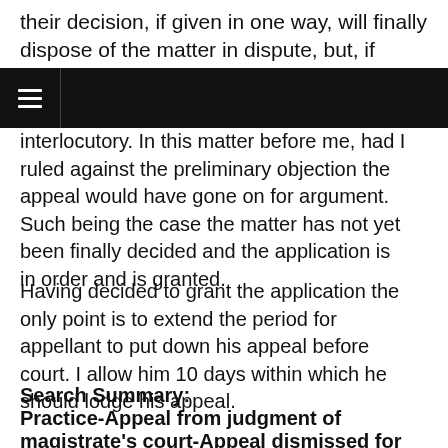their decision, if given in one way, will finally dispose of the matter in dispute, but, if given in the other will allow the action to
interlocutory. In this matter before me, had I ruled against the preliminary objection the appeal would have gone on for argument. Such being the case the matter has not yet been finally decided and the application is in order and is granted.
Having decided to grant the application the only point is to extend the period for appellant to put down his appeal before court. I allow him 10 days within which he should lodge his appeal.
Search Summary:
Practice-Appeal from judgment of magistrate's court-Appeal dismissed for